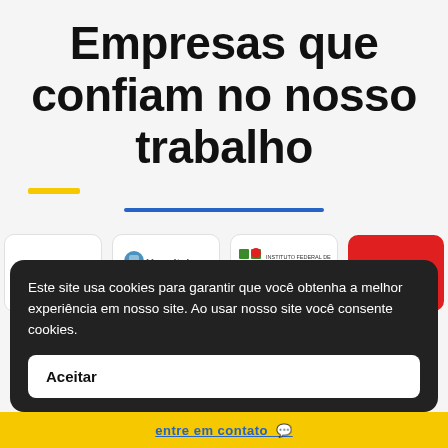Empresas que confiam no nosso trabalho
[Figure (logo): Yellow horizontal bar divider]
[Figure (logo): Blue horizontal bar divider]
[Figure (logo): Row of company logos: Emodialise, Hospital Santa Lucinda, IFPA (Instituto Federal de Educação, Ciência e Tecnologia do Pará), Parat]
Este site usa cookies para garantir que você obtenha a melhor experiência em nosso site. Ao usar nosso site você consente cookies.
Aceitar
entre em contato